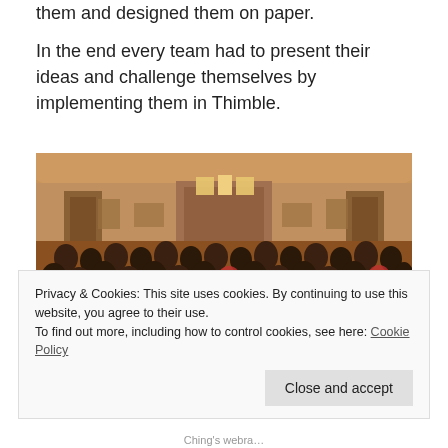them and designed them on paper.
In the end every team had to present their ideas and challenge themselves by implementing them in Thimble.
[Figure (photo): A large auditorium or conference hall filled with many people seated at tables, taken in warm orange/amber lighting. The room has a curved ceiling and doors along the walls.]
Privacy & Cookies: This site uses cookies. By continuing to use this website, you agree to their use.
To find out more, including how to control cookies, see here: Cookie Policy
Ching's web…